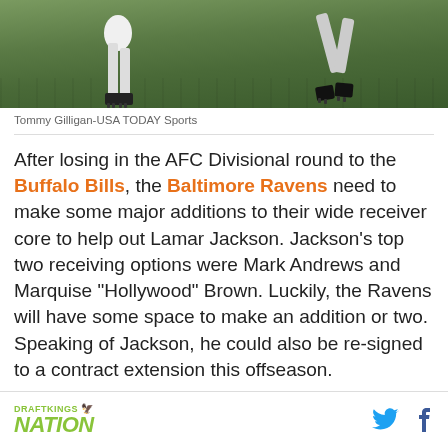[Figure (photo): Football action photo showing players on a grass field, cropped to show legs and feet]
Tommy Gilligan-USA TODAY Sports
After losing in the AFC Divisional round to the Buffalo Bills, the Baltimore Ravens need to make some major additions to their wide receiver core to help out Lamar Jackson. Jackson’s top two receiving options were Mark Andrews and Marquise “Hollywood” Brown. Luckily, the Ravens will have some space to make an addition or two. Speaking of Jackson, he could also be re-signed to a contract extension this offseason.
DRAFTKINGS NATION